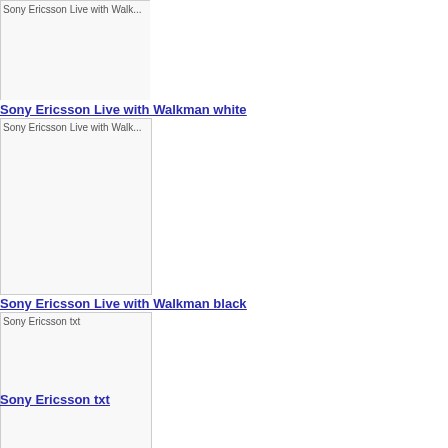[Figure (photo): Partially cropped image placeholder for Sony Ericsson Live with Walkman (top, cut off)]
Sony Ericsson Live with Walkman white
[Figure (photo): Image placeholder for Sony Ericsson Live with Walkman white]
Sony Ericsson Live with Walkman black
[Figure (photo): Image placeholder for Sony Ericsson txt]
Sony Ericsson txt
[Figure (photo): Image placeholder for Sony Ericsson Xperia Ray Gold]
Sony Ericsson Xperia Ray Gold
[Figure (photo): Image placeholder for Sony Ericsson Xperia Arc S]
Sony Ericsson Xperia Arc S